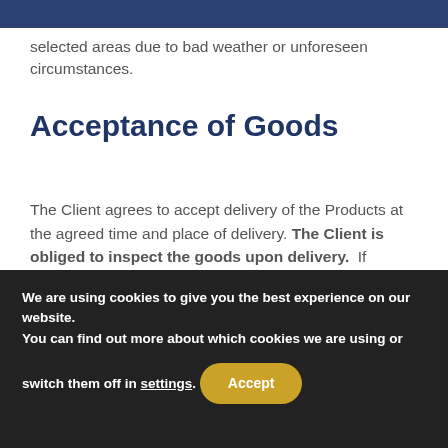selected areas due to bad weather or unforeseen circumstances.
Acceptance of Goods
The Client agrees to accept delivery of the Products at the agreed time and place of delivery. The Client is obliged to inspect the goods upon delivery.  If damage or a fault is found, the delivery person is to be informed immediately so they get in touch with us, so we remedy the situation. If the buyer waives the right of inspection, the
We are using cookies to give you the best experience on our website.
You can find out more about which cookies we are using or switch them off in settings.
Accept